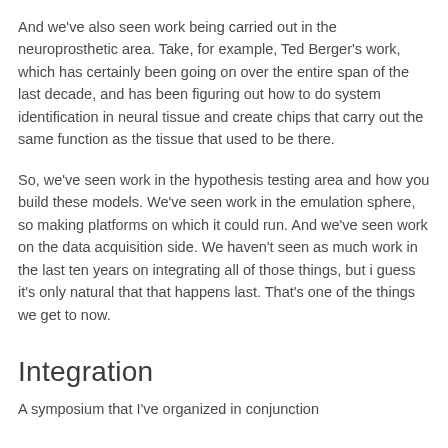And we've also seen work being carried out in the neuroprosthetic area. Take, for example, Ted Berger's work, which has certainly been going on over the entire span of the last decade, and has been figuring out how to do system identification in neural tissue and create chips that carry out the same function as the tissue that used to be there.
So, we've seen work in the hypothesis testing area and how you build these models. We've seen work in the emulation sphere, so making platforms on which it could run. And we've seen work on the data acquisition side. We haven't seen as much work in the last ten years on integrating all of those things, but i guess it's only natural that that happens last. That's one of the things we get to now.
Integration
A symposium that I've organized in conjunction